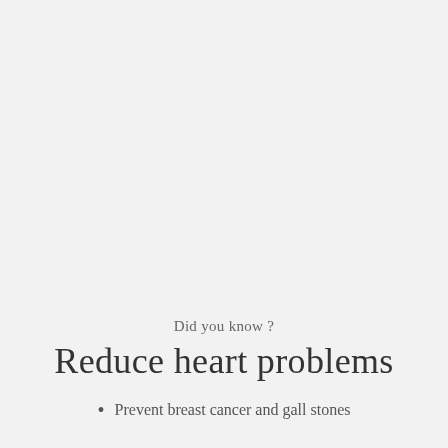Did you know ?
Reduce heart problems
Prevent breast cancer and gall stones